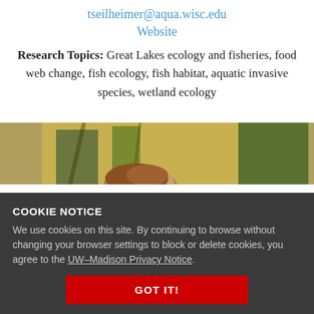tseilheimer@aqua.wisc.edu
Website
Research Topics: Great Lakes ecology and fisheries, food web change, fish ecology, fish habitat, aquatic invasive species, wetland ecology
[Figure (photo): Partial photograph of a person leaning over, with brown hair visible against a yellow-green background.]
COOKIE NOTICE
We use cookies on this site. By continuing to browse without changing your browser settings to block or delete cookies, you agree to the UW–Madison Privacy Notice.
GOT IT!